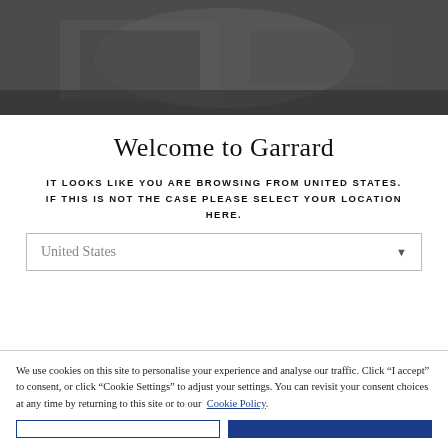[Figure (photo): Dark grey hero image showing a blurred indoor/workshop scene with soft lighting]
Welcome to Garrard
IT LOOKS LIKE YOU ARE BROWSING FROM UNITED STATES. IF THIS IS NOT THE CASE PLEASE SELECT YOUR LOCATION HERE.
United States (dropdown selector)
We use cookies on this site to personalise your experience and analyse our traffic. Click “I accept” to consent, or click “Cookie Settings” to adjust your settings. You can revisit your consent choices at any time by returning to this site or to our Cookie Policy.